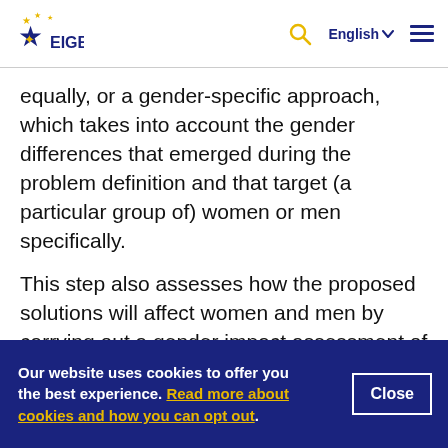EIGE — English
equally, or a gender-specific approach, which takes into account the gender differences that emerged during the problem definition and that target (a particular group of) women or men specifically.
This step also assesses how the proposed solutions will affect women and men by carrying out a gender impact assessment of the various solutions. Finally, gender-specific objectives are identified
Our website uses cookies to offer you the best experience. Read more about cookies and how you can opt out.